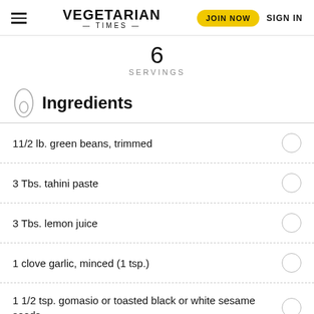VEGETARIAN TIMES | JOIN NOW | SIGN IN
6
SERVINGS
Ingredients
11/2 lb. green beans, trimmed
3 Tbs. tahini paste
3 Tbs. lemon juice
1 clove garlic, minced (1 tsp.)
1 1/2 tsp. gomasio or toasted black or white sesame seeds